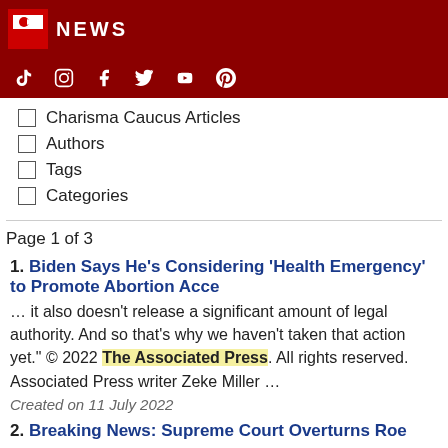NEWS
Charisma Caucus Articles
Authors
Tags
Categories
Page 1 of 3
1. Biden Says He's Considering 'Health Emergency' to Promote Abortion Acce
… it also doesn't release a significant amount of legal authority. And so that's why we haven't taken that action yet." © 2022 The Associated Press. All rights reserved. Associated Press writer Zeke Miller …
Created on 11 July 2022
2. Breaking News: Supreme Court Overturns Roe